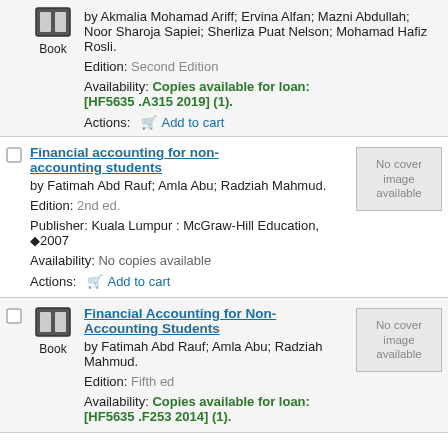Book
by Akmalia Mohamad Ariff; Ervina Alfan; Mazni Abdullah; Noor Sharoja Sapiei; Sherliza Puat Nelson; Mohamad Hafiz Rosli.
Edition: Second Edition
Availability: Copies available for loan: [HF5635 .A315 2019] (1).
Actions: Add to cart
Financial accounting for non-accounting students
by Fatimah Abd Rauf; Amla Abu; Radziah Mahmud.
Edition: 2nd ed.
Publisher: Kuala Lumpur : McGraw-Hill Education, ©2007
Availability: No copies available
Actions: Add to cart
Financial Accounting for Non-Accounting Students
by Fatimah Abd Rauf; Amla Abu; Radziah Mahmud.
Edition: Fifth ed
Availability: Copies available for loan: [HF5635 .F253 2014] (1).